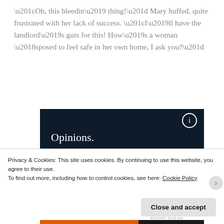“Oh, this bleedin’ thing!” Mary huffed, quite frustrated with her lack of success. “I’ll have the landlord’s guts for this! How’s a woman ‘sposed to feel safe in her own home, I ask you?”
[Figure (other): Dark navy advertisement banner with white text reading 'Opinions. We all have them!' with a pink button bar and white circle decorative element.]
Privacy & Cookies: This site uses cookies. By continuing to use this website, you agree to their use.
To find out more, including how to control cookies, see here: Cookie Policy